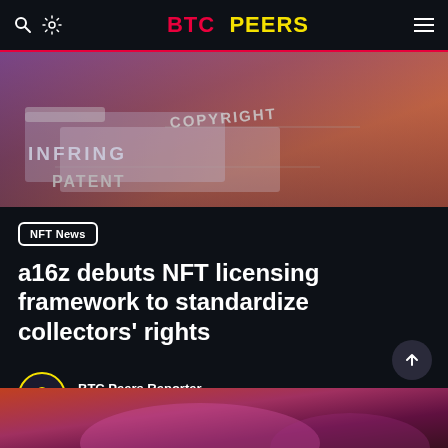BTC PEERS
[Figure (photo): Close-up photo of legal/IP folders labeled INFRINGE, COPYRIGHT, PATENT with a warm reddish-purple gradient overlay]
NFT News
a16z debuts NFT licensing framework to standardize collectors' rights
BTC Peers Reporter
Sep 1, 2022
[Figure (photo): Partial photo of a colorful abstract image at the bottom of the page]